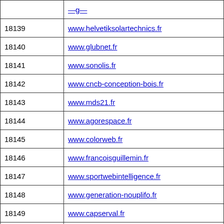| ID | URL |
| --- | --- |
|  |  |
| 18139 | www.helvetiksolartechnics.fr |
| 18140 | www.glubnet.fr |
| 18141 | www.sonolis.fr |
| 18142 | www.cncb-conception-bois.fr |
| 18143 | www.mds21.fr |
| 18144 | www.agorespace.fr |
| 18145 | www.colorweb.fr |
| 18146 | www.francoisguillemin.fr |
| 18147 | www.sportwebintelligence.fr |
| 18148 | www.generation-nouplifo.fr |
| 18149 | www.capserval.fr |
| 18150 | www.litoralcostadorada.fr |
| 18151 | www.habiteramarseille.fr |
| 18152 | www.fgsu.fr |
| 18153 | www.flowerblog.fr |